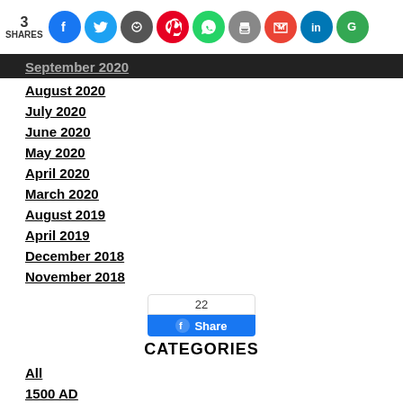[Figure (infographic): Social share bar showing 3 SHARES with icons for Facebook, Twitter, Reddit, Pinterest, WhatsApp, Print, Gmail, LinkedIn, Google]
September 2020
August 2020
July 2020
June 2020
May 2020
April 2020
March 2020
August 2019
April 2019
December 2018
November 2018
[Figure (screenshot): Facebook share button widget showing count of 22 and a blue Share button]
CATEGORIES
All
1500 AD
1886